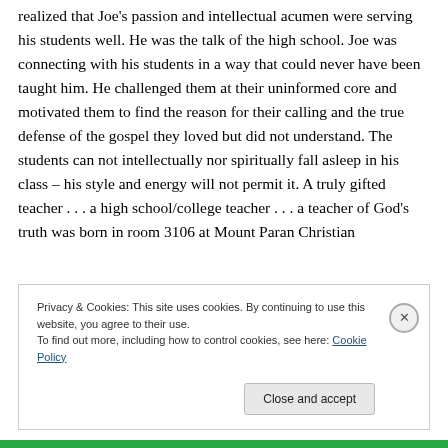realized that Joe's passion and intellectual acumen were serving his students well. He was the talk of the high school. Joe was connecting with his students in a way that could never have been taught him. He challenged them at their uninformed core and motivated them to find the reason for their calling and the true defense of the gospel they loved but did not understand. The students can not intellectually nor spiritually fall asleep in his class – his style and energy will not permit it. A truly gifted teacher . . . a high school/college teacher . . . a teacher of God's truth was born in room 3106 at Mount Paran Christian
Privacy & Cookies: This site uses cookies. By continuing to use this website, you agree to their use.
To find out more, including how to control cookies, see here: Cookie Policy